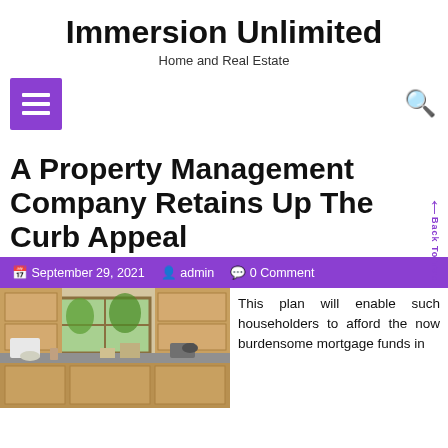Immersion Unlimited
Home and Real Estate
[Figure (screenshot): Navigation bar with purple hamburger menu button on left and search icon on right]
A Property Management Company Retains Up The Curb Appeal
September 29, 2021  admin  0 Comment
[Figure (photo): Interior kitchen photo showing countertops, appliances, and a window with green plants visible outside]
This plan will enable such householders to afford the now burdensome mortgage funds in